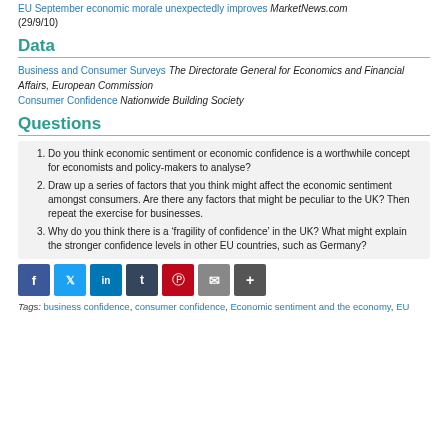EU September economic morale unexpectedly improves MarketNews.com (29/9/10)
Data
Business and Consumer Surveys The Directorate General for Economics and Financial Affairs, European Commission
Consumer Confidence Nationwide Building Society
Questions
Do you think economic sentiment or economic confidence is a worthwhile concept for economists and policy-makers to analyse?
Draw up a series of factors that you think might affect the economic sentiment amongst consumers. Are there any factors that might be peculiar to the UK? Then repeat the exercise for businesses.
Why do you think there is a ‘fragility of confidence’ in the UK? What might explain the stronger confidence levels in other EU countries, such as Germany?
[Figure (other): Social media sharing buttons: Facebook, Twitter, LinkedIn, Tumblr, Pinterest, Email, More]
Tags: business confidence, consumer confidence, Economic sentiment and the economy, EU